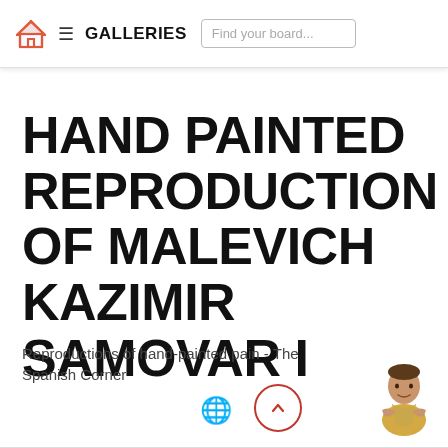GALLERIES | Find your board...
HAND PAINTED REPRODUCTION OF MALEVICH KAZIMIR SAMOVAR I
Reproductions of hand-painted pain - The Spanish Corner